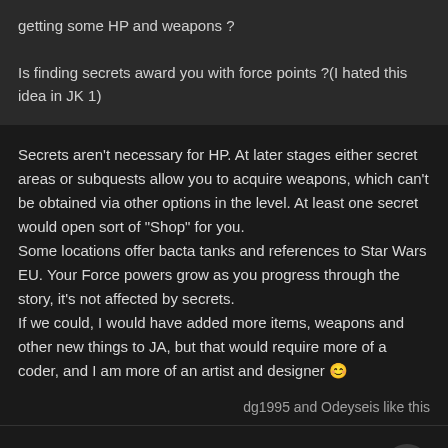getting some HP and weapons ?

Is finding secrets award you with force points ?(I hated this idea in JK 1)
Secrets aren't necessary for HP. At later stages either secret areas or subquests allow you to acquire weapons, which can't be obtained via other options in the level. At least one secret would open sort of "Shop" for you.
Some locations offer bacta tanks and references to Star Wars EU. Your Force powers grow as you progress through the story, it's not affected by secrets.
If we could, I would have added more items, weapons and other new things to JA, but that would require more of a coder, and I am more of an artist and designer 😊
dg1995 and Odeyseis like this
2 months later...